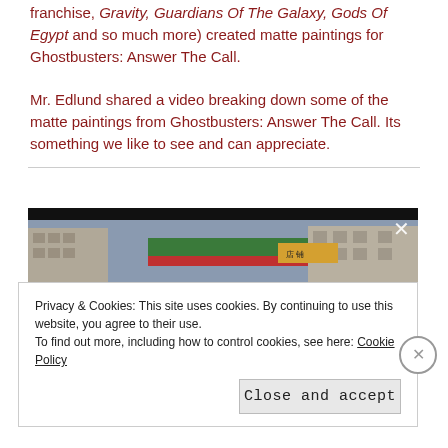franchise, Gravity, Guardians Of The Galaxy, Gods Of Egypt and so much more) created matte paintings for Ghostbusters: Answer The Call.
Mr. Edlund shared a video breaking down some of the matte paintings from Ghostbusters: Answer The Call. Its something we like to see and can appreciate.
[Figure (screenshot): Video frame showing a city street scene with buildings and a green/red sign, with an X close button in the top right corner.]
Privacy & Cookies: This site uses cookies. By continuing to use this website, you agree to their use. To find out more, including how to control cookies, see here: Cookie Policy
Close and accept